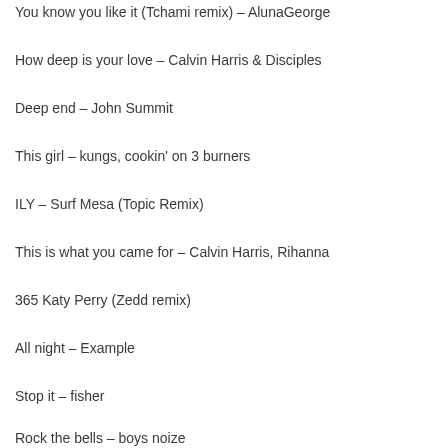You know you like it (Tchami remix) – AlunaGeorge
How deep is your love – Calvin Harris & Disciples
Deep end – John Summit
This girl – kungs, cookin' on 3 burners
ILY – Surf Mesa (Topic Remix)
This is what you came for – Calvin Harris, Rihanna
365 Katy Perry (Zedd remix)
All night – Example
Stop it – fisher
Rock the bells – boys noize